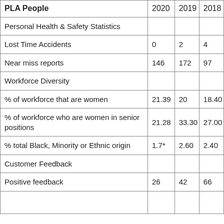| PLA People | 2020 | 2019 | 2018 |
| --- | --- | --- | --- |
| Personal Health & Safety Statistics |  |  |  |
| Lost Time Accidents | 0 | 2 | 4 |
| Near miss reports | 146 | 172 | 97 |
| Workforce Diversity |  |  |  |
| % of workforce that are women | 21.39 | 20 | 18.40 |
| % of workforce who are women in senior positions | 21.28 | 33.30 | 27.00 |
| % total Black, Minority or Ethnic origin | 1.7* | 2.60 | 2.40 |
| Customer Feedback |  |  |  |
| Positive feedback | 26 | 42 | 66 |
|  |  |  |  |